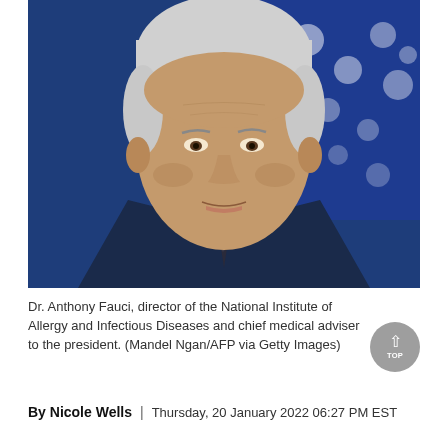[Figure (photo): Photograph of Dr. Anthony Fauci speaking, with a blue background and American flag visible behind him on the right. He is wearing a dark navy suit with a dark tie and light blue shirt. He has silver/white hair.]
Dr. Anthony Fauci, director of the National Institute of Allergy and Infectious Diseases and chief medical adviser to the president. (Mandel Ngan/AFP via Getty Images)
By Nicole Wells  |  Thursday, 20 January 2022 06:27 PM EST